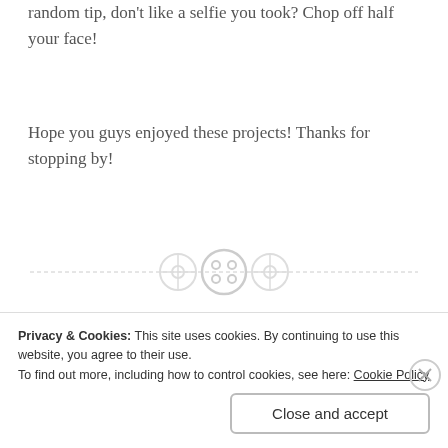random tip, don't like a selfie you took? Chop off half your face!
Hope you guys enjoyed these projects! Thanks for stopping by!
[Figure (illustration): Decorative divider with three button icons on a dashed horizontal line]
PROJECT LIFE
Project Life: April '17
Privacy & Cookies: This site uses cookies. By continuing to use this website, you agree to their use.
To find out more, including how to control cookies, see here: Cookie Policy
Close and accept